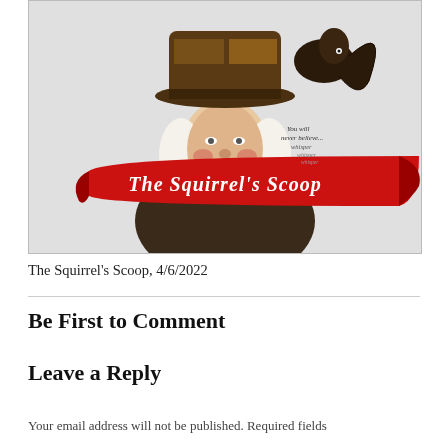[Figure (illustration): Illustrated logo of 'The Squirrel's Scoop' — a historical-looking figure wearing a tricorn hat with a squirrel on top, red banner across the middle reading 'The Squirrel's Scoop' in old-English font, text whisper 'You will never believe... whisper whisper whisper' on the right side.]
The Squirrel's Scoop, 4/6/2022
Be First to Comment
Leave a Reply
Your email address will not be published. Required fields